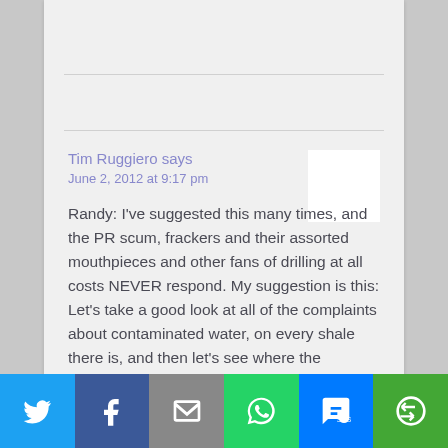Tim Ruggiero says
June 2, 2012 at 9:17 pm
Randy: I've suggested this many times, and the PR scum, frackers and their assorted mouthpieces and other fans of drilling at all costs NEVER respond. My suggestion is this: Let's take a good look at all of the complaints about contaminated water, on every shale there is, and then let's see where the complainant is in relation to the gas field... [continues]
[Figure (infographic): Social share bar with Twitter, Facebook, Email, WhatsApp, SMS, and More buttons]